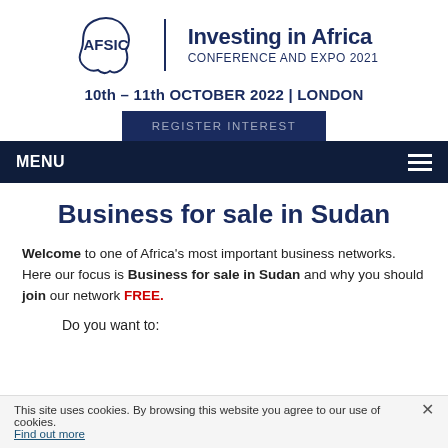[Figure (logo): AFSIC logo with Africa continent outline and text 'AFSIC', next to 'Investing in Africa CONFERENCE AND EXPO 2021' title]
10th – 11th OCTOBER 2022 | LONDON
REGISTER INTEREST
MENU
Business for sale in Sudan
Welcome to one of Africa's most important business networks. Here our focus is Business for sale in Sudan and why you should join our network FREE.
Do you want to:
This site uses cookies. By browsing this website you agree to our use of cookies. Find out more